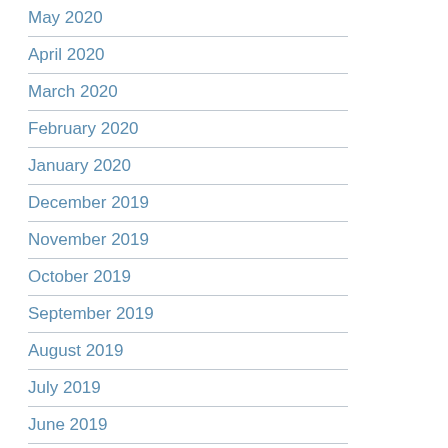May 2020
April 2020
March 2020
February 2020
January 2020
December 2019
November 2019
October 2019
September 2019
August 2019
July 2019
June 2019
May 2019
April 2019
March 2019
February 2019
January 2019
December 2018